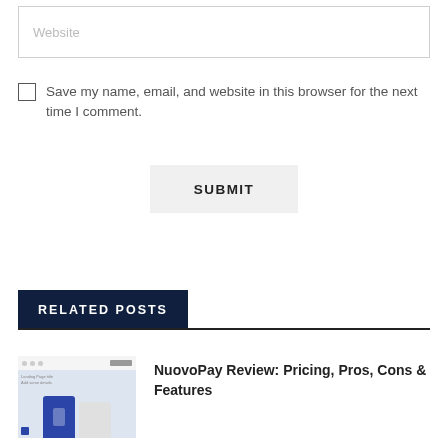Website
Save my name, email, and website in this browser for the next time I comment.
SUBMIT
RELATED POSTS
[Figure (screenshot): Thumbnail image showing a webpage screenshot with two phones displaying NuovoPay app interface]
NuovoPay Review: Pricing, Pros, Cons & Features